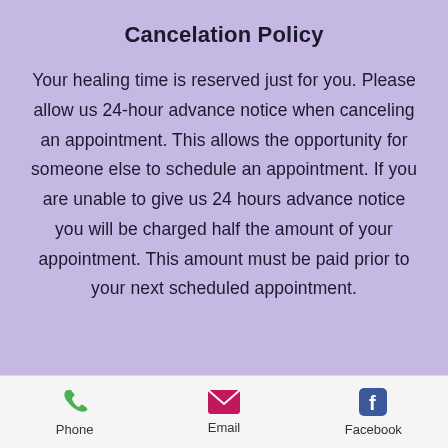Cancelation Policy
Your healing time is reserved just for you. Please allow us 24-hour advance notice when canceling an appointment. This allows the opportunity for someone else to schedule an appointment. If you are unable to give us 24 hours advance notice you will be charged half the amount of your appointment. This amount must be paid prior to your next scheduled appointment.
[Figure (infographic): App footer bar with three icons: green phone icon labeled Phone, pink/magenta email envelope icon labeled Email, blue Facebook icon labeled Facebook]